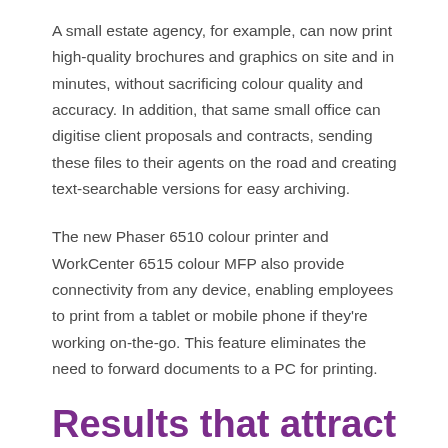A small estate agency, for example, can now print high-quality brochures and graphics on site and in minutes, without sacrificing colour quality and accuracy. In addition, that same small office can digitise client proposals and contracts, sending these files to their agents on the road and creating text-searchable versions for easy archiving.
The new Phaser 6510 colour printer and WorkCenter 6515 colour MFP also provide connectivity from any device, enabling employees to print from a tablet or mobile phone if they're working on-the-go. This feature eliminates the need to forward documents to a PC for printing.
Results that attract